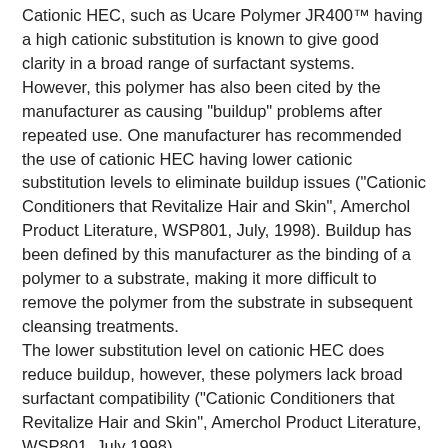Cationic HEC, such as Ucare Polymer JR400™ having a high cationic substitution is known to give good clarity in a broad range of surfactant systems. However, this polymer has also been cited by the manufacturer as causing "buildup" problems after repeated use. One manufacturer has recommended the use of cationic HEC having lower cationic substitution levels to eliminate buildup issues ("Cationic Conditioners that Revitalize Hair and Skin", Amerchol Product Literature, WSP801, July, 1998). Buildup has been defined by this manufacturer as the binding of a polymer to a substrate, making it more difficult to remove the polymer from the substrate in subsequent cleansing treatments.
The lower substitution level on cationic HEC does reduce buildup, however, these polymers lack broad surfactant compatibility ("Cationic Conditioners that Revitalize Hair and Skin", Amerchol Product Literature, WSP801, July 1998).
A need still exists in the marketplace for a cationic conditioning polymer that has broad surfactant compatibility, and can deliver clear personal care and household formulations with good conditioning